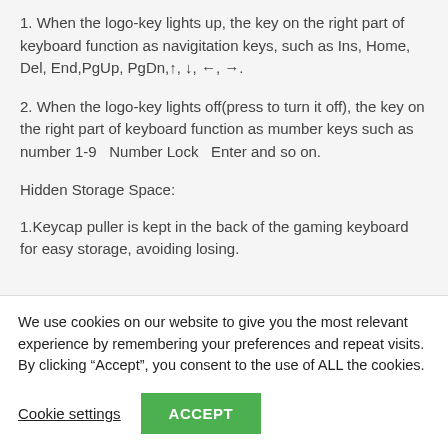1. When the logo-key lights up, the key on the right part of keyboard function as navigitation keys, such as Ins, Home, Del, End,PgUp, PgDn,↑, ↓, ←, →.
2. When the logo-key lights off(press to turn it off), the key on the right part of keyboard function as mumber keys such as number 1-9   Number Lock    Enter and so on.
Hidden Storage Space:
1.Keycap puller is kept in the back of the gaming keyboard for easy storage, avoiding losing.
We use cookies on our website to give you the most relevant experience by remembering your preferences and repeat visits. By clicking “Accept”, you consent to the use of ALL the cookies.
Cookie settings
ACCEPT